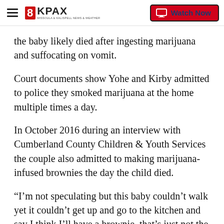8KPAX | Watch Now
the baby likely died after ingesting marijuana and suffocating on vomit.
Court documents show Yohe and Kirby admitted to police they smoked marijuana at the home multiple times a day.
In October 2016 during an interview with Cumberland County Children & Youth Services the couple also admitted to making marijuana-infused brownies the day the child died.
“I’m not speculating but this baby couldn’t walk yet it couldn’t get up and go to the kitchen and say I think I’ll have a brownie, that’s just not the way it works,” said Skip Ebert, Cumberland County District Attorney